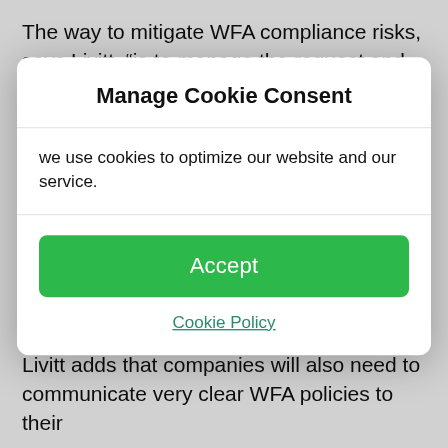The way to mitigate WFA compliance risks, says Livitt, “is to manage the request and approval process through technology. The technologies I’ve seen can be configured to really compare variables [such as who wants to go where, for how long and why]. You can
Manage Cookie Consent
we use cookies to optimize our website and our service.
Accept
Cookie Policy
can open-source a solution so that other companies can offer this flexibility as well.”
Livitt adds that companies will also need to communicate very clear WFA policies to their